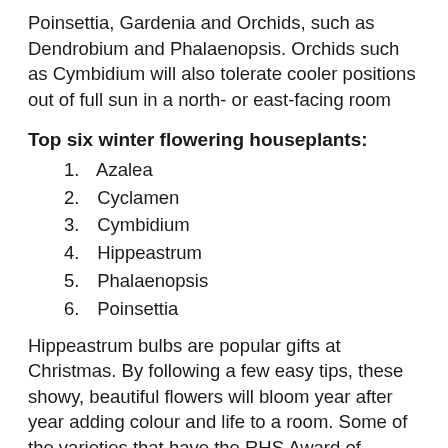Poinsettia, Gardenia and Orchids, such as Dendrobium and Phalaenopsis. Orchids such as Cymbidium will also tolerate cooler positions out of full sun in a north- or east-facing room
Top six winter flowering houseplants:
1. Azalea
2. Cyclamen
3. Cymbidium
4. Hippeastrum
5. Phalaenopsis
6. Poinsettia
Hippeastrum bulbs are popular gifts at Christmas. By following a few easy tips, these showy, beautiful flowers will bloom year after year adding colour and life to a room. Some of the varieties that have the RHS Award of Garden